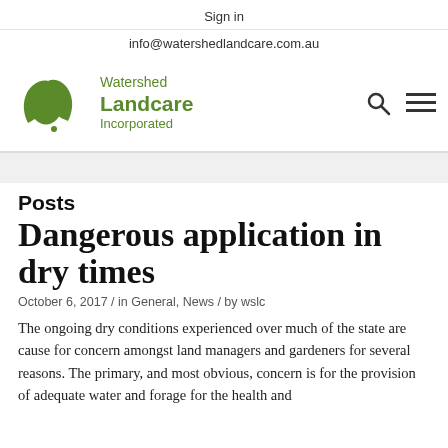Sign in
info@watershedlandcare.com.au
[Figure (logo): Watershed Landcare Incorporated logo with green hands forming Australia map shape, and green text reading Watershed Landcare Incorporated]
Posts
Dangerous application in dry times
October 6, 2017 / in General, News / by wslc
The ongoing dry conditions experienced over much of the state are cause for concern amongst land managers and gardeners for several reasons. The primary, and most obvious, concern is for the provision of adequate water and forage for the health and